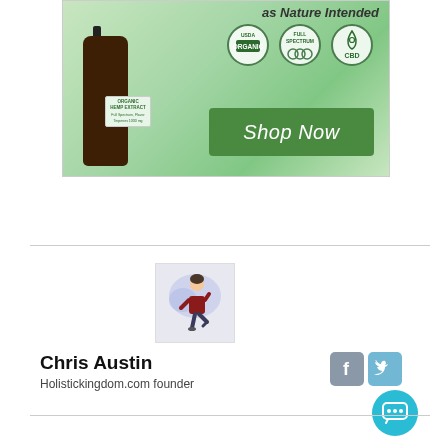[Figure (illustration): CBD oil advertisement banner showing a dark glass dropper bottle with 'ORGANIC HEMP EXTRACT' label on a green background. Three certification badges: USDA ORGANIC, FULL SPECTRUM, and CBD. Text 'as Nature Intended' at top. Green 'Shop Now' button.]
[Figure (illustration): Author avatar: cartoon/bitmoji style illustration of a person in a yoga pose against a purple/blue cloud background, inside a white bordered box.]
Chris Austin
Holistickingdom.com founder
[Figure (illustration): Social media icons: Facebook (grey-blue square) and Twitter (blue square). Chat bubble button in teal/cyan circle.]